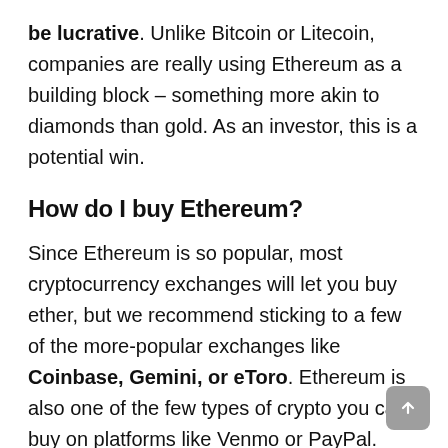be lucrative. Unlike Bitcoin or Litecoin, companies are really using Ethereum as a building block – something more akin to diamonds than gold. As an investor, this is a potential win.
How do I buy Ethereum?
Since Ethereum is so popular, most cryptocurrency exchanges will let you buy ether, but we recommend sticking to a few of the more-popular exchanges like Coinbase, Gemini, or eToro. Ethereum is also one of the few types of crypto you can buy on platforms like Venmo or PayPal.
Can I invest in Ethereum?